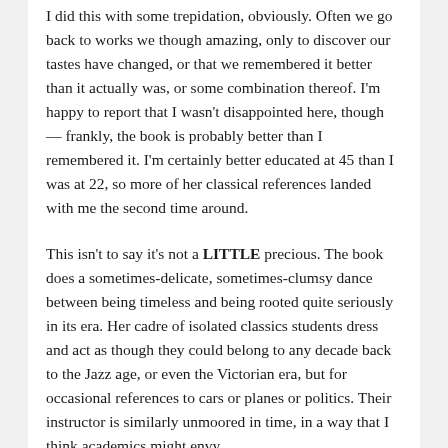I did this with some trepidation, obviously. Often we go back to works we though amazing, only to discover our tastes have changed, or that we remembered it better than it actually was, or some combination thereof. I'm happy to report that I wasn't disappointed here, though — frankly, the book is probably better than I remembered it. I'm certainly better educated at 45 than I was at 22, so more of her classical references landed with me the second time around.
This isn't to say it's not a LITTLE precious. The book does a sometimes-delicate, sometimes-clumsy dance between being timeless and being rooted quite seriously in its era. Her cadre of isolated classics students dress and act as though they could belong to any decade back to the Jazz age, or even the Victorian era, but for occasional references to cars or planes or politics. Their instructor is similarly unmoored in time, in a way that I think academics might envy.
Tartt's recurring themes and traits are of course here: array of easy privilege, spectral figures with big trust funds